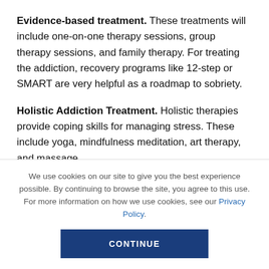Evidence-based treatment. These treatments will include one-on-one therapy sessions, group therapy sessions, and family therapy. For treating the addiction, recovery programs like 12-step or SMART are very helpful as a roadmap to sobriety.
Holistic Addiction Treatment. Holistic therapies provide coping skills for managing stress. These include yoga, mindfulness meditation, art therapy, and massage.
We use cookies on our site to give you the best experience possible. By continuing to browse the site, you agree to this use. For more information on how we use cookies, see our Privacy Policy.